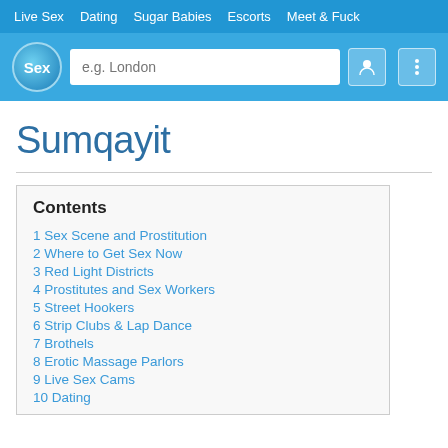Live Sex  Dating  Sugar Babies  Escorts  Meet & Fuck
Sumqayit
Contents
1 Sex Scene and Prostitution
2 Where to Get Sex Now
3 Red Light Districts
4 Prostitutes and Sex Workers
5 Street Hookers
6 Strip Clubs & Lap Dance
7 Brothels
8 Erotic Massage Parlors
9 Live Sex Cams
10 Dating